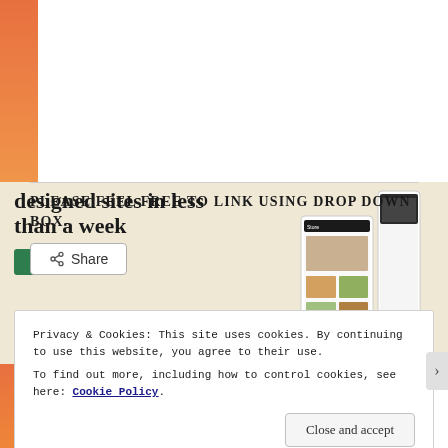[Figure (screenshot): WordPress/web design advertisement showing 'designed sites in less than a week' with Explore options button, WordPress logo, and website mockup on beige background]
REPORT THIS AD
PLEASE FEEL FREE TO LINK USING DROP DOWN BOX.
Share
Privacy & Cookies: This site uses cookies. By continuing to use this website, you agree to their use. To find out more, including how to control cookies, see here: Cookie Policy
Close and accept